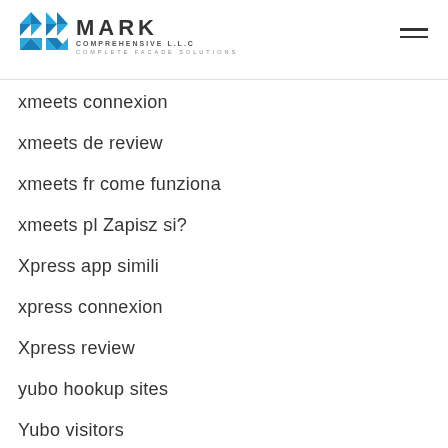Mark Comprehensive LLC — Complete Facade Solutions
xmeets connexion
xmeets de review
xmeets fr come funziona
xmeets pl Zapisz si?
Xpress app simili
xpress connexion
Xpress review
yubo hookup sites
Yubo visitors
zip payday loans